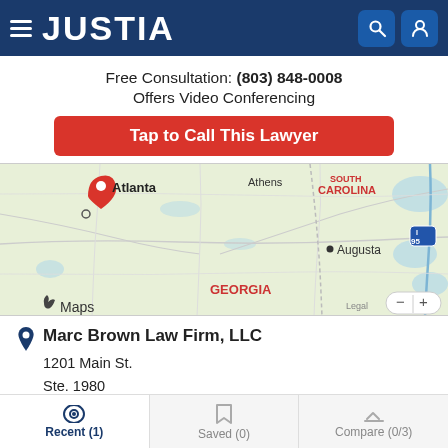JUSTIA
Free Consultation: (803) 848-0008
Offers Video Conferencing
Tap to Call This Lawyer
[Figure (map): Apple Maps showing southeastern US region with Atlanta, Athens, Augusta, Georgia, South Carolina labels. A red location pin is visible near Atlanta. Interstate 95 marker visible on right side.]
Marc Brown Law Firm, LLC
1201 Main St.
Ste. 1980
Columbia, SC 29201
Telephone: (803) 848-0008
Recent (1)   Saved (0)   Compare (0/3)